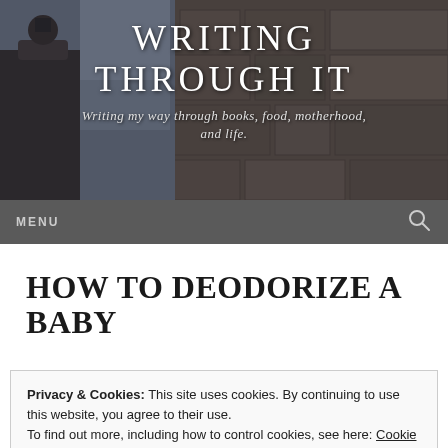WRITING THROUGH IT
Writing my way through books, food, motherhood, and life.
MENU
HOW TO DEODORIZE A BABY
Privacy & Cookies: This site uses cookies. By continuing to use this website, you agree to their use.
To find out more, including how to control cookies, see here: Cookie Policy
Close and accept